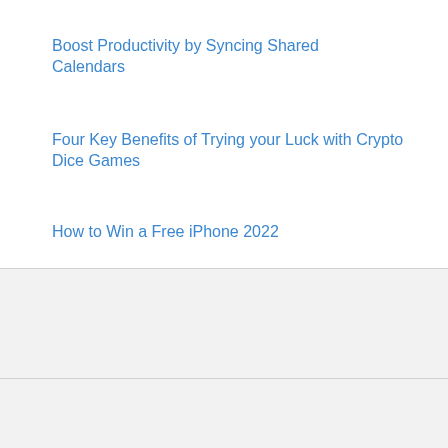Boost Productivity by Syncing Shared Calendars
Four Key Benefits of Trying your Luck with Crypto Dice Games
How to Win a Free iPhone 2022